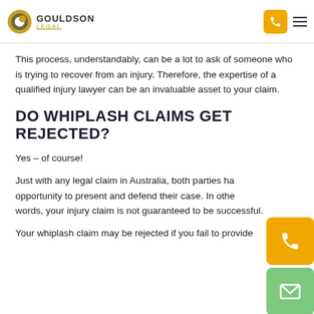GOULDSON LEGAL
This process, understandably, can be a lot to ask of someone who is trying to recover from an injury. Therefore, the expertise of a qualified injury lawyer can be an invaluable asset to your claim.
DO WHIPLASH CLAIMS GET REJECTED?
Yes – of course!
Just with any legal claim in Australia, both parties have an opportunity to present and defend their case. In other words, your injury claim is not guaranteed to be successful.
Your whiplash claim may be rejected if you fail to provide